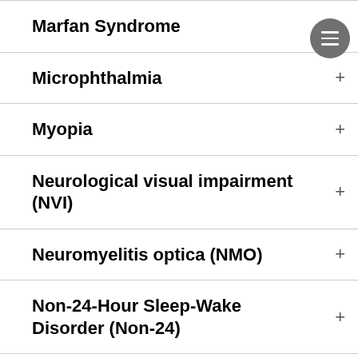Marfan Syndrome
Microphthalmia
Myopia
Neurological visual impairment (NVI)
Neuromyelitis optica (NMO)
Non-24-Hour Sleep-Wake Disorder (Non-24)
Nystagmus
Optic nerve atrophy